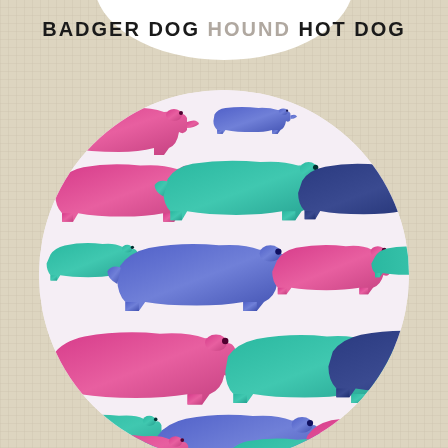BADGER DOG HOUND HOT DOG
[Figure (illustration): A large circular illustration containing a repeating pattern of colorful dachshund (sausage dog) silhouettes in pink/magenta, teal, blue/purple, and navy gradient colors, arranged in rows on a light pink/white mottled background. The dogs face alternating directions and vary slightly in size.]